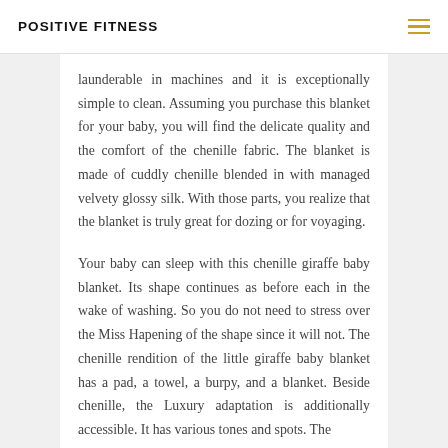POSITIVE FITNESS
launderable in machines and it is exceptionally simple to clean. Assuming you purchase this blanket for your baby, you will find the delicate quality and the comfort of the chenille fabric. The blanket is made of cuddly chenille blended in with managed velvety glossy silk. With those parts, you realize that the blanket is truly great for dozing or for voyaging.
Your baby can sleep with this chenille giraffe baby blanket. Its shape continues as before each in the wake of washing. So you do not need to stress over the Miss Hapening of the shape since it will not. The chenille rendition of the little giraffe baby blanket has a pad, a towel, a burpy, and a blanket. Beside chenille, the Luxury adaptation is additionally accessible. It has various tones and spots. The